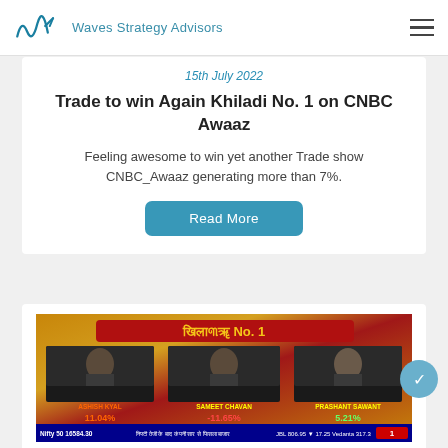Waves Strategy Advisors
15th July 2022
Trade to win Again Khiladi No. 1 on CNBC Awaaz
Feeling awesome to win yet another Trade show CNBC_Awaaz generating more than 7%.
Read More
[Figure (screenshot): CNBC Awaaz TV screenshot showing Khiladi No. 1 show with three contestants: Ashish Kyal at 11.04%, Sameet Chavan at -11.65%, Prashant Sawant at 5.21%. Bottom ticker shows Nifty 50 at 16584.30 and other market data.]